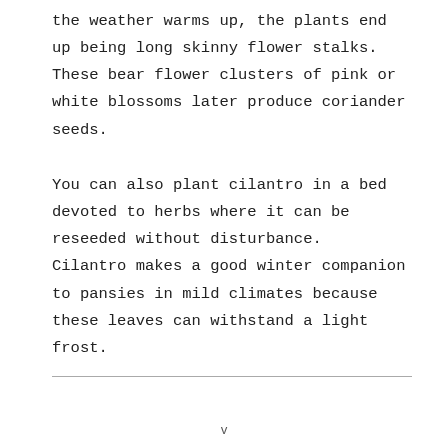the weather warms up, the plants end up being long skinny flower stalks.  These bear flower clusters of pink or white blossoms later produce coriander seeds.
You can also plant cilantro in a bed devoted to herbs where it can be reseeded without disturbance.  Cilantro makes a good winter companion to pansies in mild climates because these leaves can withstand a light frost.
v